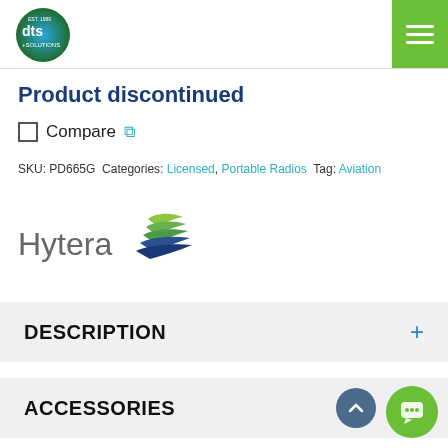[Figure (logo): DTS Solutions company logo - circular green/blue gradient with 'dts +SOLUTIONS' text in white]
Product discontinued
Compare [external link icon]
SKU: PD665G Categories: Licensed, Portable Radios Tag: Aviation
[Figure (logo): Hytera logo - grey text 'Hytera' with green and blue stylized wing/arrow graphic]
DESCRIPTION
ACCESSORIES